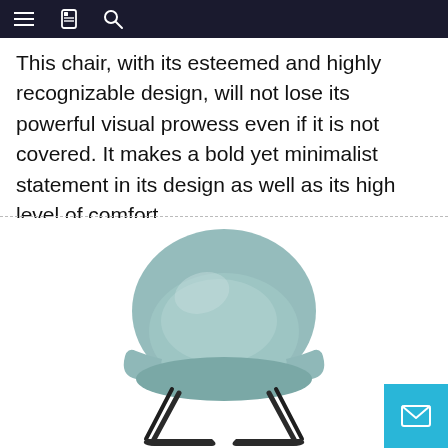Navigation bar with menu, bookmark, and search icons
This chair, with its esteemed and highly recognizable design, will not lose its powerful visual prowess even if it is not covered. It makes a bold yet minimalist statement in its design as well as its high level of comfort.
[Figure (photo): A modern minimalist armchair with a matte sage/light teal polypropylene shell seat and black metal sled-style legs, photographed on a white background.]